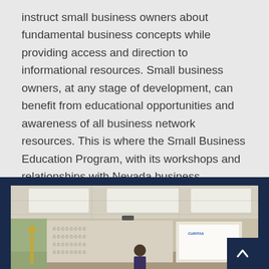instruct small business owners about fundamental business concepts while providing access and direction to informational resources. Small business owners, at any stage of development, can benefit from educational opportunities and awareness of all business network resources. This is where the Small Business Education Program, with its workshops and relationships with Nevada business programs, steps in to act as a guide.
[Figure (photo): A classroom/workshop setting showing a presenter in front of a screen with the CURITAS logo, a backdrop banner in the background, and fluorescent ceiling lights. Appears to be a business education workshop.]